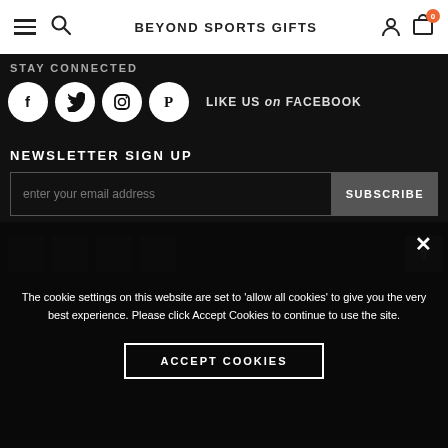BEYOND SPORTS GIFTS
STAY CONNECTED
[Figure (other): Social media icons: Facebook, Twitter, Instagram, Pinterest circles with LIKE US on FACEBOOK text]
NEWSLETTER SIGN UP
enter your email address
SUBSCRIBE
The cookie settings on this website are set to 'allow all cookies' to give you the very best experience. Please click Accept Cookies to continue to use the site.
ACCEPT COOKIES